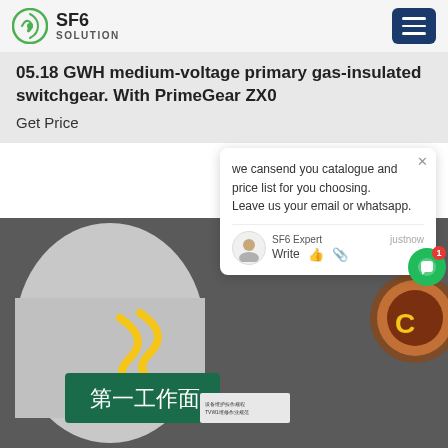SF6 SOLUTION
05.18 GWH medium-voltage primary gas-insulated switchgear. With PrimeGear ZX0
Get Price
we cansend you catalogue and price list for you choosing.
Leave us your email or whatsapp.

SF6 Expert   justnow
Write
[Figure (photo): Worker in blue hard hat and reflective safety suit performing maintenance on large gas-insulated switchgear equipment in an industrial facility. Chinese signage visible reading 第一工作面.]